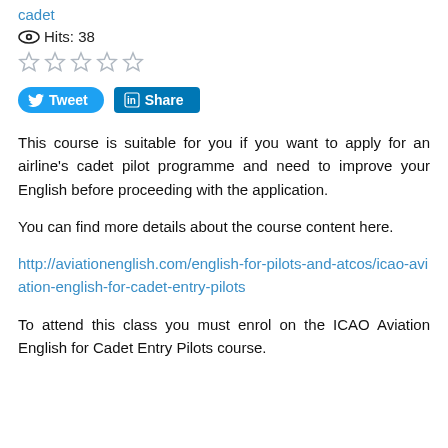cadet
Hits: 38
★★★★★ (5 empty stars rating)
Tweet  Share
This course is suitable for you if you want to apply for an airline's cadet pilot programme and need to improve your English before proceeding with the application.
You can find more details about the course content here.
http://aviationenglish.com/english-for-pilots-and-atcos/icao-aviation-english-for-cadet-entry-pilots
To attend this class you must enrol on the ICAO Aviation English for Cadet Entry Pilots course.